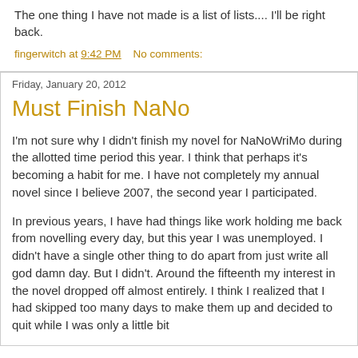The one thing I have not made is a list of lists.... I'll be right back.
fingerwitch at 9:42 PM    No comments:
Friday, January 20, 2012
Must Finish NaNo
I'm not sure why I didn't finish my novel for NaNoWriMo during the allotted time period this year. I think that perhaps it's becoming a habit for me. I have not completely my annual novel since I believe 2007, the second year I participated.
In previous years, I have had things like work holding me back from novelling every day, but this year I was unemployed. I didn't have a single other thing to do apart from just write all god damn day. But I didn't. Around the fifteenth my interest in the novel dropped off almost entirely. I think I realized that I had skipped too many days to make them up and decided to quit while I was only a little bit